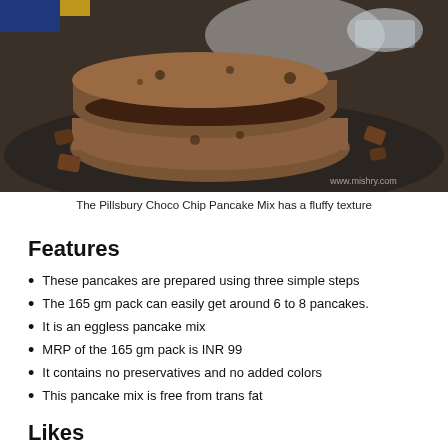[Figure (photo): Photo of stacked chocolate pancakes with chocolate chip pieces on a dark surface, with a small bowl in the background. Watermark 'www.mishry.com' in bottom right.]
The Pillsbury Choco Chip Pancake Mix has a fluffy texture
Features
These pancakes are prepared using three simple steps
The 165 gm pack can easily get around 6 to 8 pancakes.
It is an eggless pancake mix
MRP of the 165 gm pack is INR 99
It contains no preservatives and no added colors
This pancake mix is free from trans fat
Likes